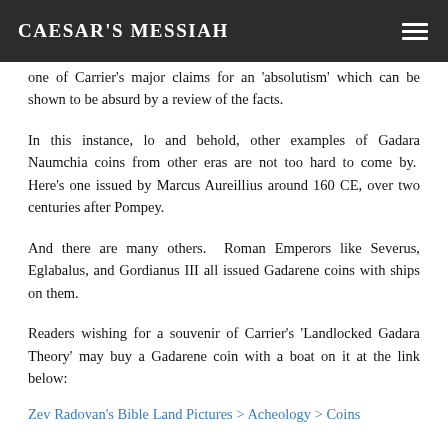Caesar's Messiah
one of Carrier's major claims for an 'absolutism' which can be shown to be absurd by a review of the facts.
In this instance, lo and behold, other examples of Gadara Naumchia coins from other eras are not too hard to come by. Here's one issued by Marcus Aureillius around 160 CE, over two centuries after Pompey.
And there are many others. Roman Emperors like Severus, Eglabalus, and Gordianus III all issued Gadarene coins with ships on them.
Readers wishing for a souvenir of Carrier's 'Landlocked Gadara Theory' may buy a Gadarene coin with a boat on it at the link below:
Zev Radovan's Bible Land Pictures > Acheology > Coins